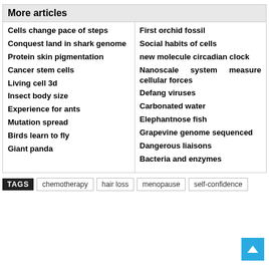More articles
Cells change pace of steps
Conquest land in shark genome
Protein skin pigmentation
Cancer stem cells
Living cell 3d
Insect body size
Experience for ants
Mutation spread
Birds learn to fly
Giant panda
First orchid fossil
Social habits of cells
new molecule circadian clock
Nanoscale system measure cellular forces
Defang viruses
Carbonated water
Elephantnose fish
Grapevine genome sequenced
Dangerous liaisons
Bacteria and enzymes
TAGS  chemotherapy  hair loss  menopause  self-confidence